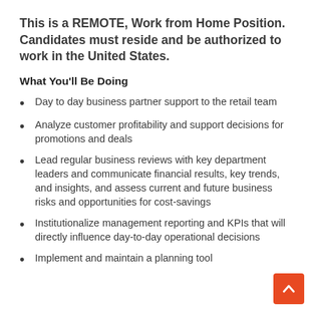This is a REMOTE, Work from Home Position. Candidates must reside and be authorized to work in the United States.
What You'll Be Doing
Day to day business partner support to the retail team
Analyze customer profitability and support decisions for promotions and deals
Lead regular business reviews with key department leaders and communicate financial results, key trends, and insights, and assess current and future business risks and opportunities for cost-savings
Institutionalize management reporting and KPIs that will directly influence day-to-day operational decisions
Implement and maintain a planning tool